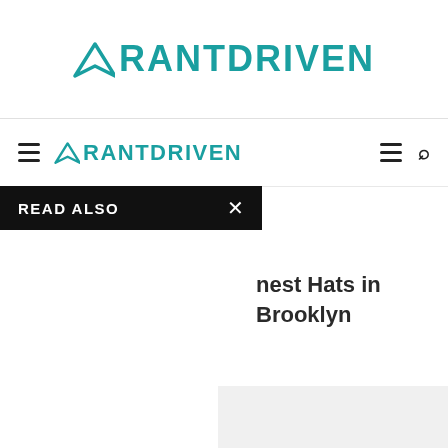RANTDRIVEN
RANTDRIVEN
READ ALSO
nest Hats in Brooklyn